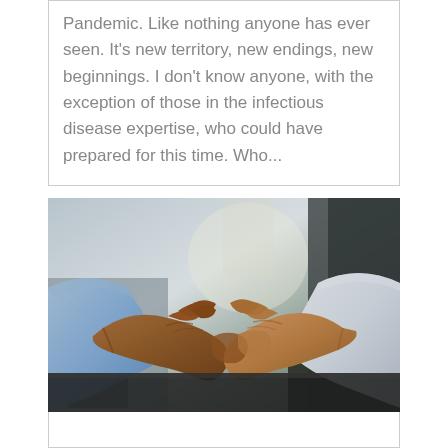Pandemic. Like nothing anyone has ever seen. It's new territory, new endings, new beginnings. I don't know anyone, with the exception of those in the infectious disease expertise, who could have prepared for this time. Who...
[Figure (photo): Two people shaking hands across a table in an office or meeting room setting. One person wears a blue shirt, the other wears a white shirt. The background shows blurred chairs and an office environment.]